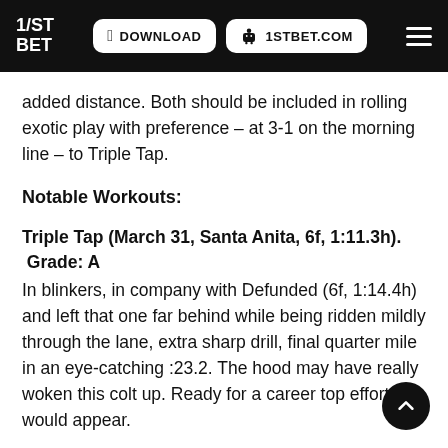1/ST BET | DOWNLOAD | 1STBET.COM
added distance.  Both should be included in rolling exotic play with preference – at 3-1 on the morning line – to Triple Tap.
Notable Workouts:
Triple Tap (March 31, Santa Anita, 6f, 1:11.3h).  Grade: A
In blinkers, in company with Defunded (6f, 1:14.4h) and left that one far behind while being ridden mildly through the lane, extra sharp drill, final quarter mile in an eye-catching :23.2.  The hood may have really woken this colt up.  Ready for a career top effort, it would appear.